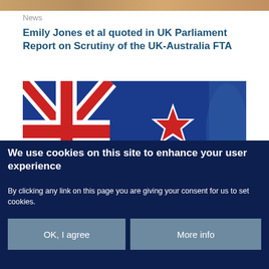[Figure (photo): Top decorative image bar with warm brown/gold tones]
News
Emily Jones et al quoted in UK Parliament Report on Scrutiny of the UK-Australia FTA
[Figure (photo): Australian flag photo showing Union Jack and Southern Cross star on blue background]
We use cookies on this site to enhance your user experience
By clicking any link on this page you are giving your consent for us to set cookies.
OK, I agree
More info